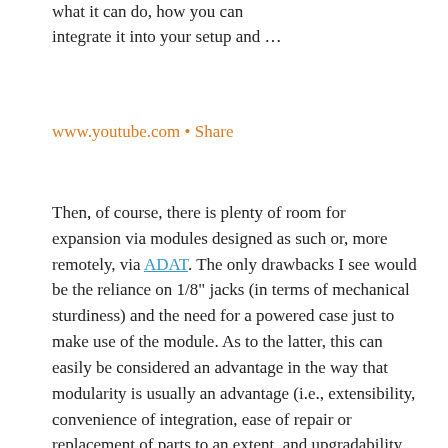what it can do, how you can integrate it into your setup and …
www.youtube.com • Share
Then, of course, there is plenty of room for expansion via modules designed as such or, more remotely, via ADAT. The only drawbacks I see would be the reliance on 1/8" jacks (in terms of mechanical sturdiness) and the need for a powered case just to make use of the module. As to the latter, this can easily be considered an advantage in the way that modularity is usually an advantage (i.e., extensibility, convenience of integration, ease of repair or replacement of parts to an extent, and upgradability of parts), not to mention the obvious fact of already having the need for a powered Eurorack case (and plenty desire for more of them down the line); still, this adds to the base cost and would clearly not be